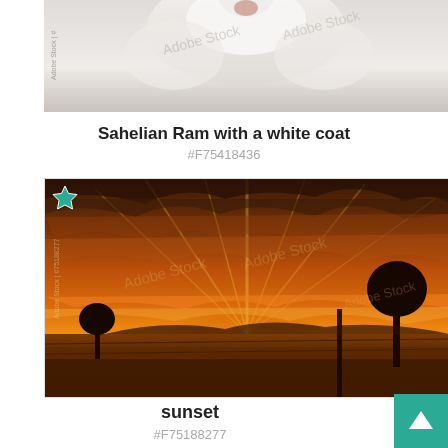[Figure (photo): Partial view of a Sahelian Ram with a white coat against a light background, cropped to show the lower portion]
Sahelian Ram with a white coat
#F75418436
[Figure (photo): Dramatic sunset over a golden grassland landscape with dark silhouettes of trees and a fence post. Sky filled with fiery orange and gold clouds. Adobe Stock watermark overlay. Teal star icon in top left corner.]
sunset
#F75188277